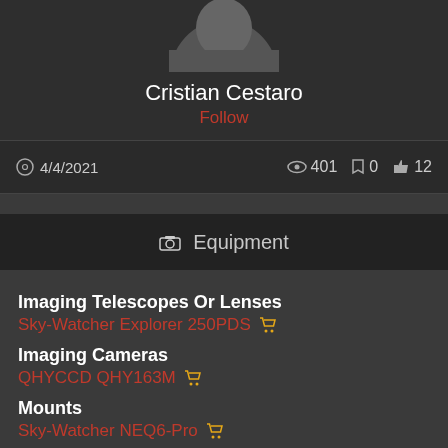[Figure (photo): Profile photo of Cristian Cestaro, partially cropped at top]
Cristian Cestaro
Follow
4/4/2021  401  0  12
Equipment
Imaging Telescopes Or Lenses
Sky-Watcher Explorer 250PDS
Imaging Cameras
QHYCCD QHY163M
Mounts
Sky-Watcher NEQ6-Pro